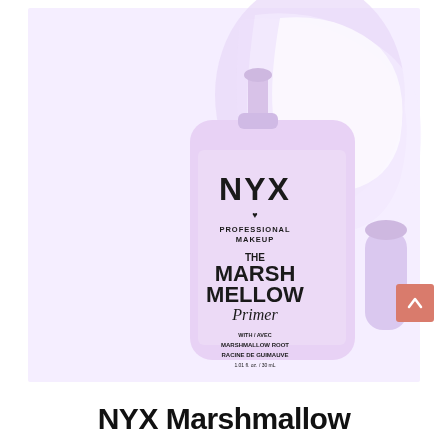[Figure (photo): NYX Professional Makeup The Marshmallow Primer product photo. A light lavender/pink pump bottle with black text reading 'NYX PROFESSIONAL MAKEUP THE MARSH MELLOW Primer WITH/AVEC MARSHMALLOW ROOT RACINE DE GUIMAUVE 1.01 fl. oz. / 30 mL'. The cap is removed and placed to the right of the bottle. A white/pale pink creamy product swatch is visible behind the bottle in the upper area. Background is light lavender/pink. A salmon/coral scroll-to-top arrow button appears in the lower right corner.]
NYX Marshmallow